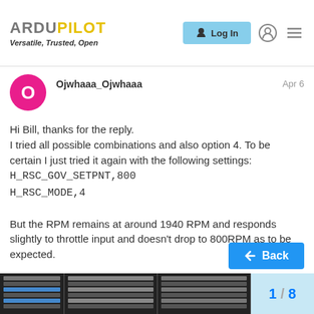ArduPilot — Versatile, Trusted, Open
Ojwhaaa_Ojwhaaa  Apr 6
Hi Bill, thanks for the reply.
I tried all possible combinations and also option 4. To be certain I just tried it again with the following settings:
H_RSC_GOV_SETPNT,800
H_RSC_MODE,4

But the RPM remains at around 1940 RPM and responds slightly to throttle input and doesn't drop to 800RPM as to be expected.

Could it be the problem that I have the throttle at channel 8 HeliRSC? All the Auto functions as RTH and ALTHOLD work fine.
[Figure (screenshot): Screenshot of a settings/parameter configuration table for ArduPilot]
1 / 8